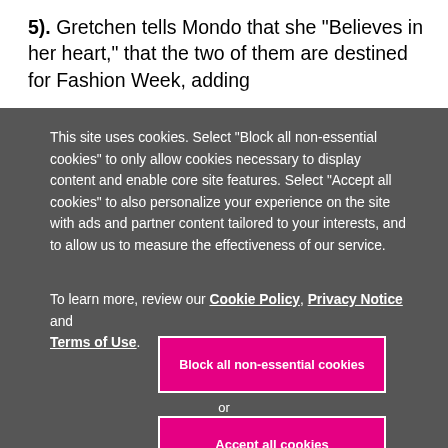5). Gretchen tells Mondo that she "Believes in her heart," that the two of them are destined for Fashion Week, adding
This site uses cookies. Select "Block all non-essential cookies" to only allow cookies necessary to display content and enable core site features. Select "Accept all cookies" to also personalize your experience on the site with ads and partner content tailored to your interests, and to allow us to measure the effectiveness of our service.
To learn more, review our Cookie Policy, Privacy Notice and Terms of Use.
Block all non-essential cookies
or
Accept all cookies